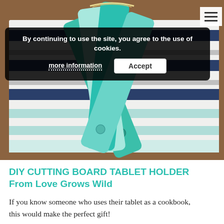[Figure (photo): Four teal/mint colored wooden cutting board pieces with holes at the bottom arranged like a fan on a white and navy striped kitchen towel on a wooden surface]
By continuing to use the site, you agree to the use of cookies.
more information
Accept
DIY CUTTING BOARD TABLET HOLDER From Love Grows Wild
If you know someone who uses their tablet as a cookbook, this would make the perfect gift!